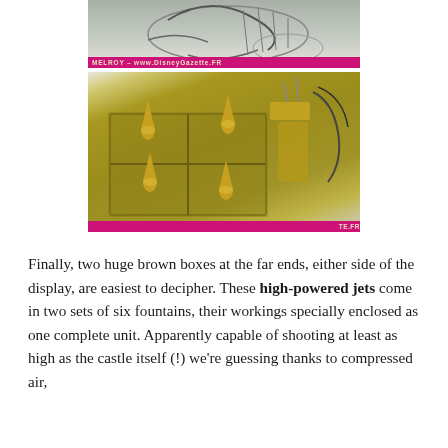[Figure (photo): Top photo: aerial/ground view of fountain equipment with hoses, on a concrete/gravel surface, with a pink watermark bar at bottom reading 'MELROY - www.DisneyGazette.FR']
[Figure (photo): Bottom photo: close-up of olive-green/brown metal box unit with multiple conical golden spikes/nozzles on top, fountain jet mechanism, with a pink watermark bar at bottom partially reading 'TE.FR']
Finally, two huge brown boxes at the far ends, either side of the display, are easiest to decipher. These high-powered jets come in two sets of six fountains, their workings specially enclosed as one complete unit. Apparently capable of shooting at least as high as the castle itself (!) we're guessing thanks to compressed air,